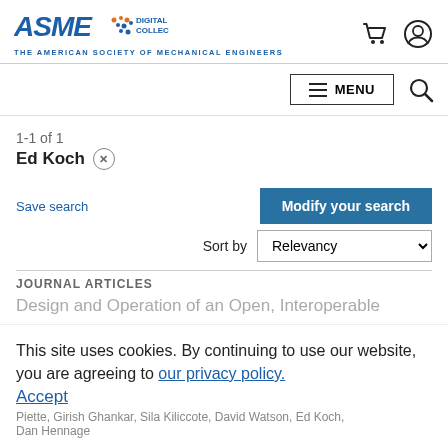ASME Digital Collection — The American Society of Mechanical Engineers
MENU
1-1 of 1
Ed Koch ×
Save search
Modify your search
Sort by Relevancy
JOURNAL ARTICLES
Design and Operation of an Open, Interoperable
This site uses cookies. By continuing to use our website, you are agreeing to our privacy policy.
Accept
Piette, Girish Ghankar, Sila Kiliccote, David Watson, Ed Koch, Dan Hennage